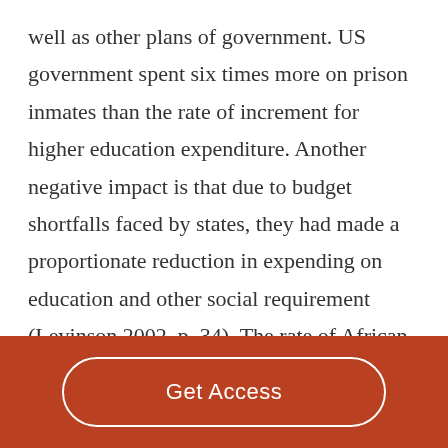well as other plans of government. US government spent six times more on prison inmates than the rate of increment for higher education expenditure. Another negative impact is that due to budget shortfalls faced by states, they had made a proportionate reduction in expending on education and other social requirement (Levinson 2002, p. 34). The rate of African Americans' imprisonment is radically greater than for the total population. A shocking ratio, one out
Get Access